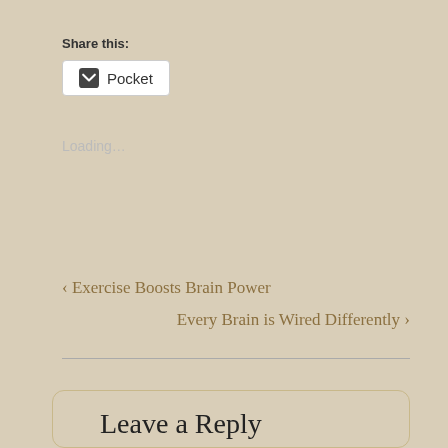Share this:
[Figure (screenshot): Pocket share button with pocket icon]
Loading...
‹ Exercise Boosts Brain Power
Every Brain is Wired Differently ›
Leave a Reply